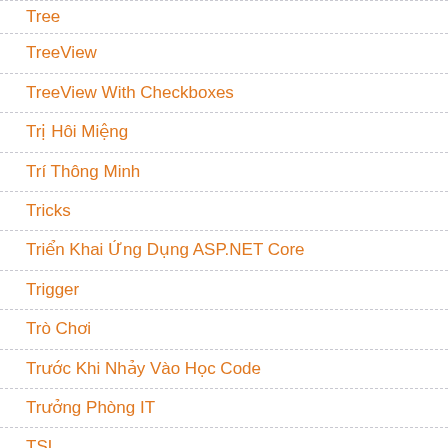Tree
TreeView
TreeView With Checkboxes
Trị Hôi Miệng
Trí Thông Minh
Tricks
Triển Khai Ứng Dụng ASP.NET Core
Trigger
Trò Chơi
Trước Khi Nhảy Vào Học Code
Trưởng Phòng IT
TSL
TSQL
T-SQL
T-SQL Code Snippets
Tuổi 30